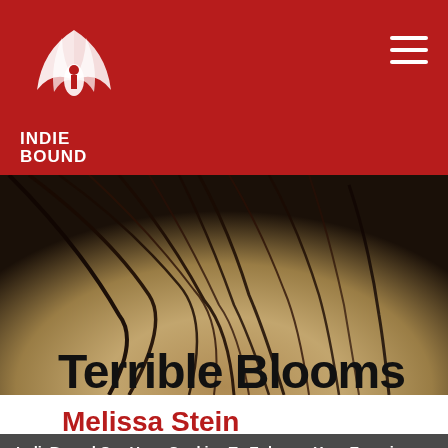[Figure (logo): IndieBound logo — white bird/book graphic with INDIE BOUND text on dark red background header]
[Figure (photo): Book cover for Terrible Blooms — close-up of dark hair strands against a pale skin-tone background]
Terrible Blooms
Melissa Stein
IndieBound.Org Uses Cookies To Enhance Your Experience On Our Site, Analyze Site Usage, And Assist In Our Marketing Efforts. By Clicking Accept, You Agree To The Storing Of Cookies On Your Device. View Our Cookie Policy.
Give me more info